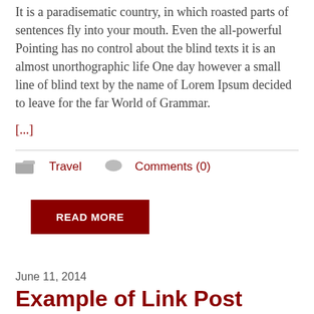It is a paradisematic country, in which roasted parts of sentences fly into your mouth. Even the all-powerful Pointing has no control about the blind texts it is an almost unorthographic life One day however a small line of blind text by the name of Lorem Ipsum decided to leave for the far World of Grammar.
[...]
Travel   Comments (0)
READ MORE
June 11, 2014
Example of Link Post